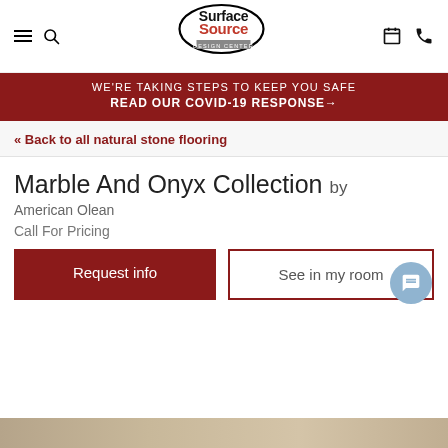[Figure (logo): Surface Source Design Center logo — black and red text with oval outline]
WE'RE TAKING STEPS TO KEEP YOU SAFE READ OUR COVID-19 RESPONSE →
« Back to all natural stone flooring
Marble And Onyx Collection by
American Olean
Call For Pricing
Request info
See in my room